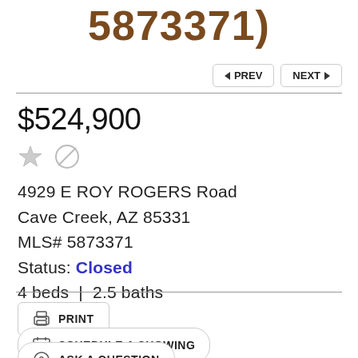5873371
$524,900
4929 E ROY ROGERS Road
Cave Creek, AZ 85331
MLS# 5873371
Status: Closed
4 beds | 2.5 baths
PRINT
SCHEDULE A SHOWING
ASK A QUESTION